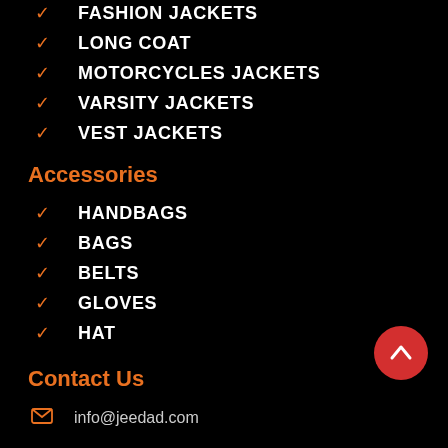FASHION JACKETS
LONG COAT
MOTORCYCLES JACKETS
VARSITY JACKETS
VEST JACKETS
Accessories
HANDBAGS
BAGS
BELTS
GLOVES
HAT
Contact Us
info@jeedad.com